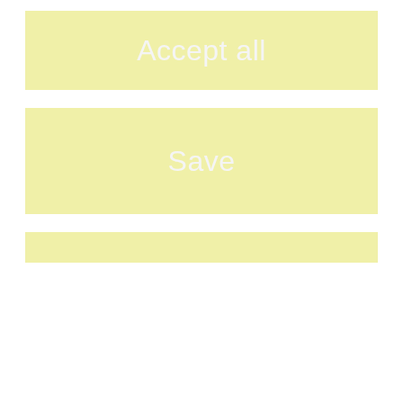Accept all
Save
[Figure (other): Partial yellow button at bottom, partially visible]